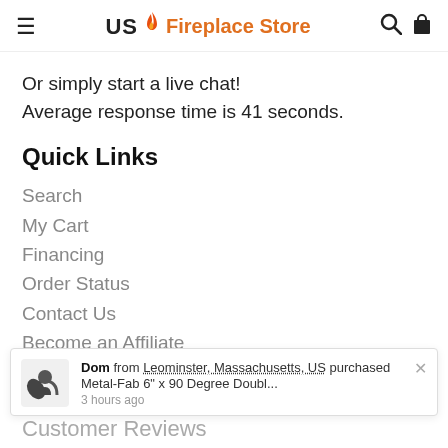US Fireplace Store
Or simply start a live chat!
Average response time is 41 seconds.
Quick Links
Search
My Cart
Financing
Order Status
Contact Us
Become an Affiliate
Grill Collection
Dom from Leominster, Massachusetts, US purchased Metal-Fab 6" x 90 Degree Doubl... 3 hours ago
Customer Reviews